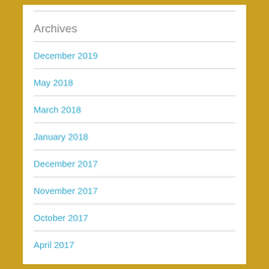Archives
December 2019
May 2018
March 2018
January 2018
December 2017
November 2017
October 2017
April 2017